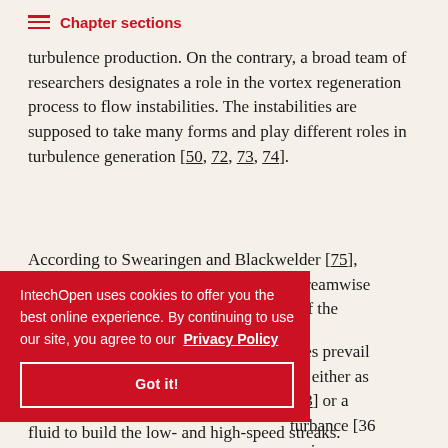Chapter sections
turbulence production. On the contrary, a broad team of researchers designates a role in the vortex regeneration process to flow instabilities. The instabilities are supposed to take many forms and play different roles in turbulence generation [50, 72, 73, 74].
According to Swearingen and Blackwelder [75], instabilities motivate the generation of streamwise vortices and then trigger the generation of the dominant vortices. Taylor-Görtler instabilities prevail in concave curvatures, either as streamwise vortices [73] or a result of free-stream disturbance [36 ...] ... streamwise vortices pump the fluid to build the low- and high-speed streaks.
IntechOpen uses cookies to offer you the best online experience. By continuing to use our site, you agree to our Privacy Policy
Got it!